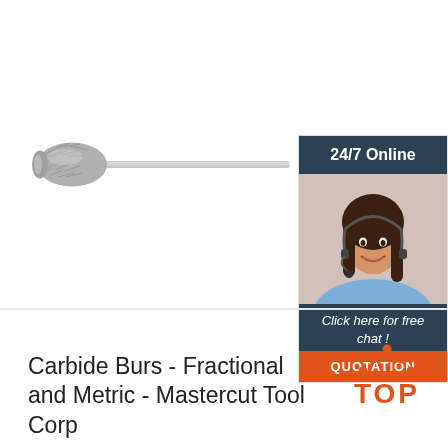[Figure (photo): Carbide rotary bur tool with textured flame/taper-shaped cutting head and long steel shank, photographed on white background]
[Figure (infographic): 24/7 Online chat support widget with dark blue header reading '24/7 Online', photo of female customer support agent wearing headset, dark blue footer with italic text 'Click here for free chat !', and orange button labeled 'QUOTATION']
[Figure (logo): TOP badge: triangle made of orange dots above bold orange text 'TOP']
Carbide Burs - Fractional and Metric - Mastercut Tool Corp